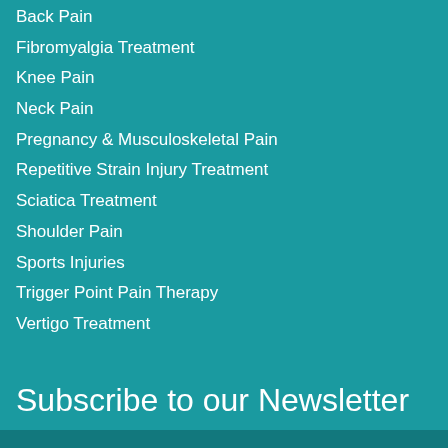Back Pain
Fibromyalgia Treatment
Knee Pain
Neck Pain
Pregnancy & Musculoskeletal Pain
Repetitive Strain Injury Treatment
Sciatica Treatment
Shoulder Pain
Sports Injuries
Trigger Point Pain Therapy
Vertigo Treatment
Subscribe to our Newsletter